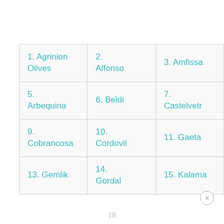| 1. Agrinion Olives | 2. Alfonso | 3. Amfissa |
| 5. Arbequina | 6. Beldi | 7. Castelvetr |
| 9. Cobrancosa | 10. Cordovil | 11. Gaeta |
| 13. Gemlik | 14. Gordal | 15. Kalama |
18